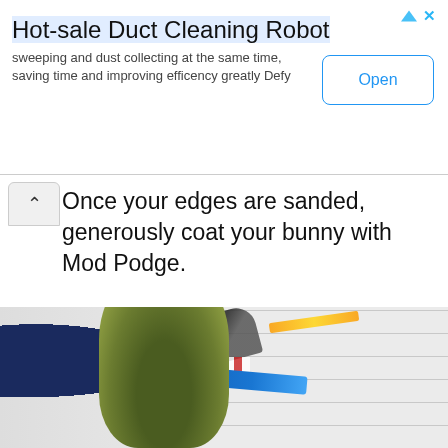[Figure (infographic): Advertisement banner: Hot-sale Duct Cleaning Robot. Sweeping and dust collecting at the same time, saving time and improving efficiency greatly Defy. Open button on right.]
Once your edges are sanded, generously coat your bunny with Mod Podge.
[Figure (photo): Photo of a moss-covered bunny figurine on a white grid craft mat, with scissors, a blue marker, red checkered tape, yellow pencil, and white plate in the background. Dark blue and white patterned fabric visible at left edge.]